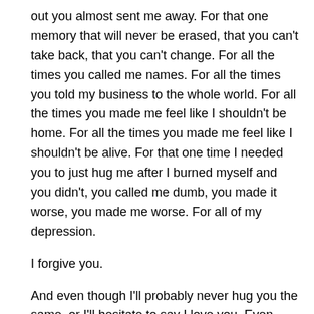out you almost sent me away. For that one memory that will never be erased, that you can't take back, that you can't change. For all the times you called me names. For all the times you told my business to the whole world. For all the times you made me feel like I shouldn't be home. For all the times you made me feel like I shouldn't be alive. For that one time I needed you to just hug me after I burned myself and you didn't, you called me dumb, you made it worse, you made me worse. For all of my depression.
I forgive you.
And even though I'll probably never hug you the same, or I'll hesitate to say I love you. Even though I'll move really far away from you. Even though we won't talk as much or at all when I leave. Even though you'll never accept me for me. Even though we'll never be mother and daughter. Even though